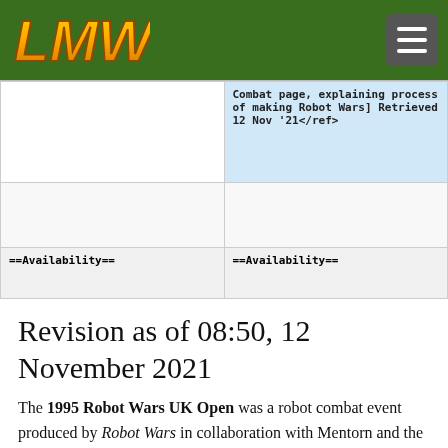LMW [logo] with hamburger menu
| Left (old) | Right (new) |
| --- | --- |
|  | Combat page, explaining process of making Robot Wars] Retrieved 12 Nov '21</ref> |
|  |  |
| ==Availability== | ==Availability== |
Revision as of 08:50, 12 November 2021
The 1995 Robot Wars UK Open was a robot combat event produced by Robot Wars in collaboration with Mentorn and the BBC. Consisting of different events that featured US machines competing against British counterparts, it is notable for being a possible pilot